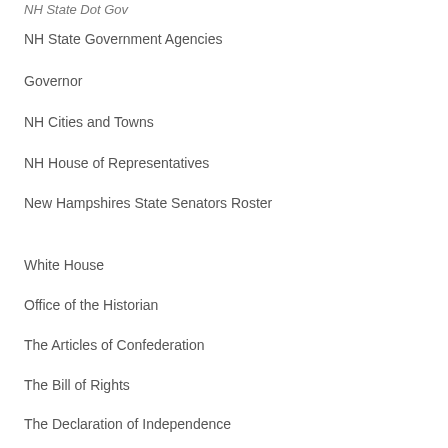NH State Dot Gov
NH State Government Agencies
Governor
NH Cities and Towns
NH House of Representatives
New Hampshires State Senators Roster
White House
Office of the Historian
The Articles of Confederation
The Bill of Rights
The Declaration of Independence
United States Constitution
United States House of Representatives